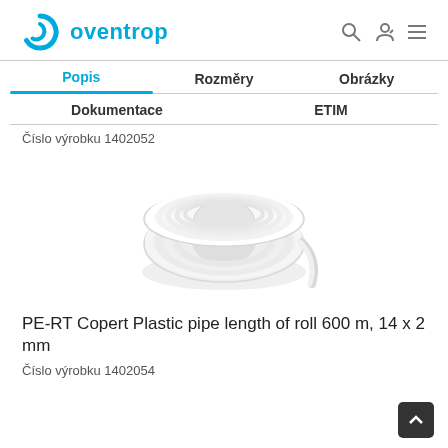oventrop
Popis | Rozměry | Obrázky | Dokumentace | ETIM
Číslo výrobku 1402052
[Figure (photo): A white plastic pipe coiled into a roll, shown on white background. PE-RT plastic pipe.]
PE-RT Copert Plastic pipe length of roll 600 m, 14 x 2 mm
Číslo výrobku 1402054